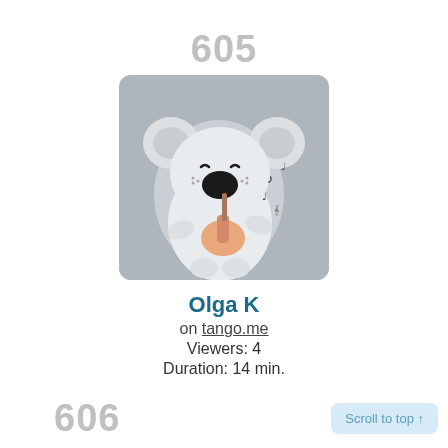605
[Figure (illustration): Cartoon koala playing a ukulele with musical notes floating nearby, on a gray rounded-square background]
Olga K
on tango.me
Viewers: 4
Duration: 14 min.
606
Scroll to top ↑